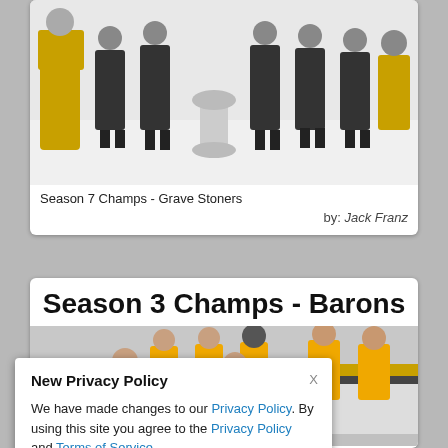[Figure (photo): Black and white team photo of hockey players in dark jerseys with a trophy on ice, Season 7 Champs - Grave Stoners]
Season 7 Champs - Grave Stoners
by: Jack Franz
Season 3 Champs - Barons
[Figure (photo): Color team photo of hockey players in yellow/gold jerseys, Season 3 Champs - Barons]
New Privacy Policy

We have made changes to our Privacy Policy. By using this site you agree to the Privacy Policy and Terms of Service.